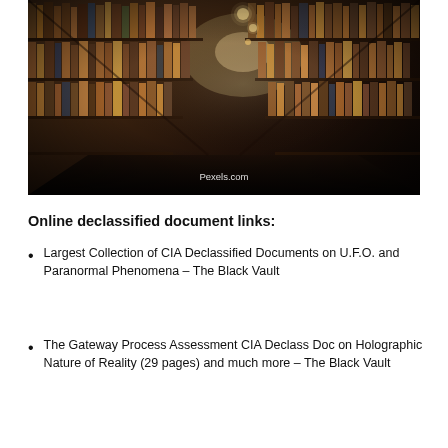[Figure (photo): Photo of a long library corridor with tall bookshelves filled with books on both sides, warm amber lighting from overhead bulbs in the distance, dark atmospheric perspective. Watermark text 'Pexels.com' visible at the bottom center.]
Online declassified document links:
Largest Collection of CIA Declassified Documents on U.F.O. and Paranormal Phenomena – The Black Vault
The Gateway Process Assessment CIA Declass Doc on Holographic Nature of Reality (29 pages) and much more – The Black Vault